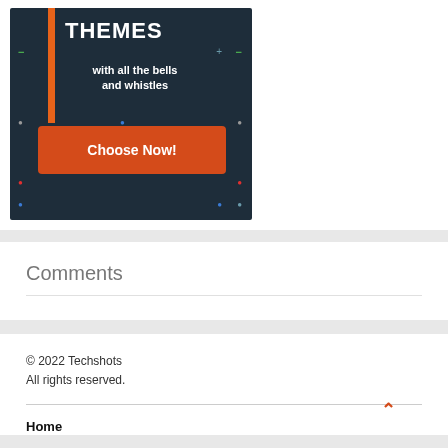[Figure (illustration): Advertisement banner with dark blue/teal background showing 'THEMES with all the bells and whistles' text and an orange 'Choose Now!' button, with decorative colored dots and an orange vertical bar on the left.]
Comments
© 2022 Techshots
All rights reserved.

Home